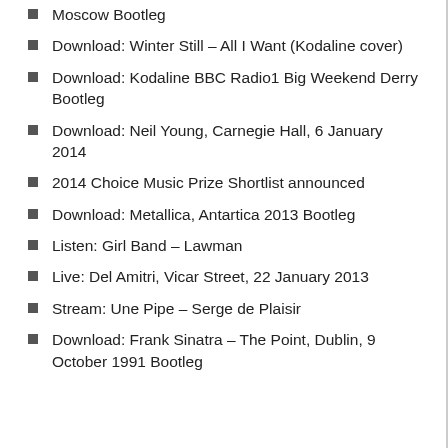Moscow Bootleg
Download: Winter Still – All I Want (Kodaline cover)
Download: Kodaline BBC Radio1 Big Weekend Derry Bootleg
Download: Neil Young, Carnegie Hall, 6 January 2014
2014 Choice Music Prize Shortlist announced
Download: Metallica, Antartica 2013 Bootleg
Listen: Girl Band – Lawman
Live: Del Amitri, Vicar Street, 22 January 2013
Stream: Une Pipe – Serge de Plaisir
Download: Frank Sinatra – The Point, Dublin, 9 October 1991 Bootleg